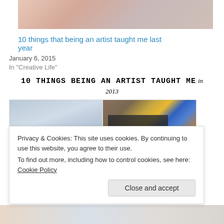[Figure (photo): Partial top image of artwork or hands, cropped]
10 things that being an artist taught me last year
January 6, 2015
In "Creative Life"
[Figure (illustration): Banner graphic reading '10 THINGS BEING AN ARTIST TAUGHT ME in 2013']
[Figure (photo): Two side-by-side art photos: left is a soft blue/grey abstract painting, right shows needlework or textile art with black, yellow and blue elements on wood]
Privacy & Cookies: This site uses cookies. By continuing to use this website, you agree to their use.
To find out more, including how to control cookies, see here: Cookie Policy
Close and accept